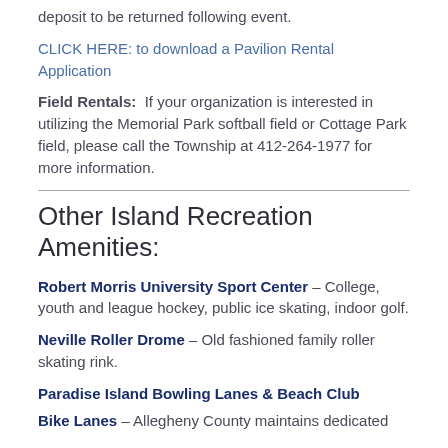deposit to be returned following event.
CLICK HERE: to download a Pavilion Rental Application
Field Rentals: If your organization is interested in utilizing the Memorial Park softball field or Cottage Park field, please call the Township at 412-264-1977 for more information.
Other Island Recreation Amenities:
Robert Morris University Sport Center – College, youth and league hockey, public ice skating, indoor golf.
Neville Roller Drome – Old fashioned family roller skating rink.
Paradise Island Bowling Lanes & Beach Club
Bike Lanes – Allegheny County maintains dedicated